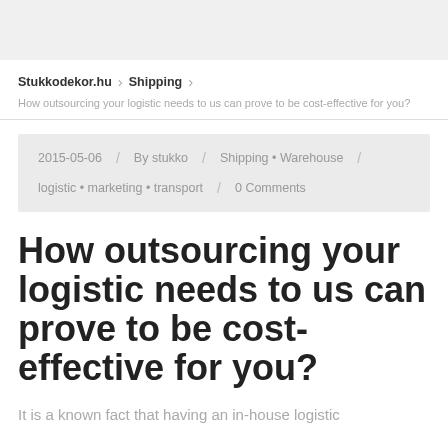Stukkodekor.hu > Shipping
How outsourcing your logistic needs to us can prove to be cost-effective for you?
2015-05-06 / By stukko / Shipping • Warehouse / logistic • marketing • transport / 0 Comments
How outsourcing your logistic needs to us can prove to be cost-effective for you?
It is a known fact that having an in-house logistic